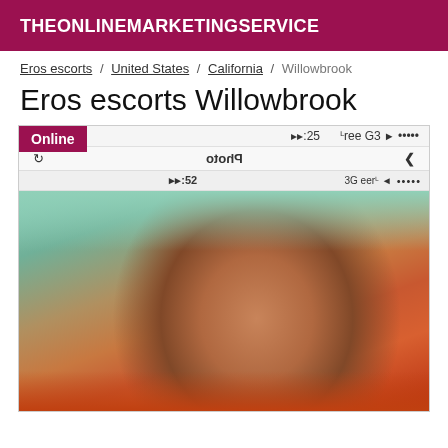THEONLINEMARKETINGSERVICE
Eros escorts / United States / California / Willowbrook
Eros escorts Willowbrook
[Figure (photo): Screenshot of a phone showing a mirrored selfie photo of a person, with an 'Online' badge overlay. The phone UI shows status bar with time 23:25, Free 3G signal, and a Photo navigation bar. The photo shows a close-up of a person's face.]